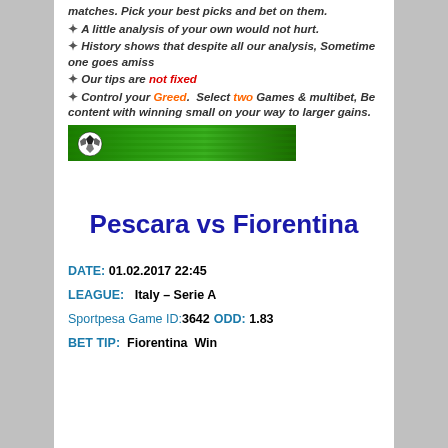matches. Pick your best picks and bet on them.
A little analysis of your own would not hurt.
History shows that despite all our analysis, Sometime one goes amiss
Our tips are not fixed
Control your Greed. Select two Games & multibet, Be content with winning small on your way to larger gains.
[Figure (photo): Soccer ball on green grass field banner image]
Pescara vs Fiorentina
DATE: 01.02.2017 22:45
LEAGUE: Italy - Serie A
Sportpesa Game ID:3642 ODD: 1.83
BET TIP: Fiorentina Win